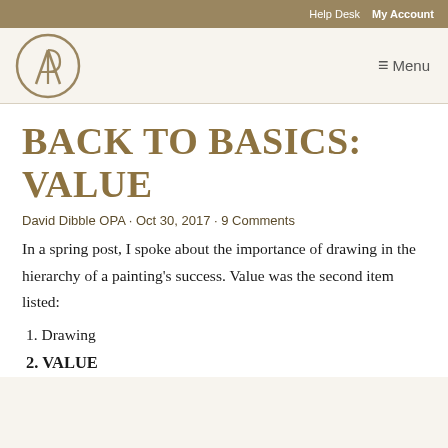Help Desk  My Account
[Figure (logo): Circular monogram logo with letters A and P intertwined, in gold/tan color]
BACK TO BASICS: VALUE
David Dibble OPA · Oct 30, 2017 · 9 Comments
In a spring post, I spoke about the importance of drawing in the hierarchy of a painting's success. Value was the second item listed:
1. Drawing
2. VALUE